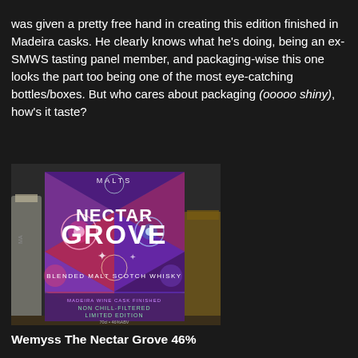was given a pretty free hand in creating this edition finished in Madeira casks. He clearly knows what he's doing, being an ex-SMWS tasting panel member, and packaging-wise this one looks the part too being one of the most eye-catching bottles/boxes. But who cares about packaging (ooooo shiny), how's it taste?
[Figure (photo): Photo of the Wemyss Nectar Grove Blended Malt Scotch Whisky box/bottle with colorful mandala-style pattern on purple/red/blue background. Text on box reads: MALTS, NECTAR GROVE, BLENDED MALT SCOTCH WHISKY, MADEIRA WINE CASK FINISHED, NON CHILL-FILTERED LIMITED EDITION, 70cl 46%ABV]
Wemyss The Nectar Grove 46%